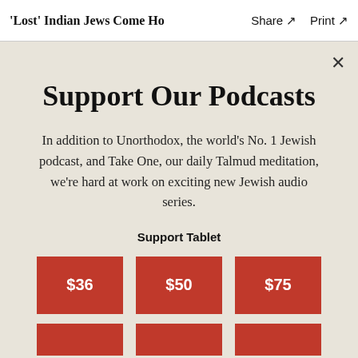'Lost' Indian Jews Come Ho   Share ↗   Print ↗
Support Our Podcasts
In addition to Unorthodox, the world's No. 1 Jewish podcast, and Take One, our daily Talmud meditation, we're hard at work on exciting new Jewish audio series.
Support Tablet
$36   $50   $75
partial second row of buttons